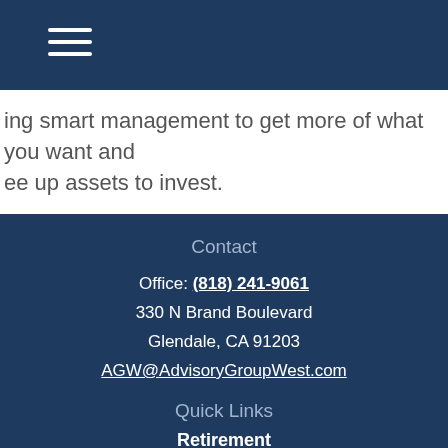ing smart management to get more of what you want and ee up assets to invest.
Contact
Office: (818) 241-9061
330 N Brand Boulevard
Glendale, CA 91203
AGW@AdvisoryGroupWest.com
Quick Links
Retirement
Investment
Estate